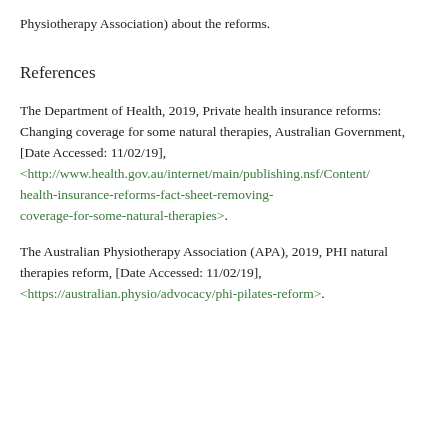Physiotherapy Association) about the reforms.
References
The Department of Health, 2019, Private health insurance reforms: Changing coverage for some natural therapies, Australian Government, [Date Accessed: 11/02/19], <http://www.health.gov.au/internet/main/publishing.nsf/Content/health-insurance-reforms-fact-sheet-removing-coverage-for-some-natural-therapies>.
The Australian Physiotherapy Association (APA), 2019, PHI natural therapies reform, [Date Accessed: 11/02/19], <https://australian.physio/advocacy/phi-pilates-reform>.